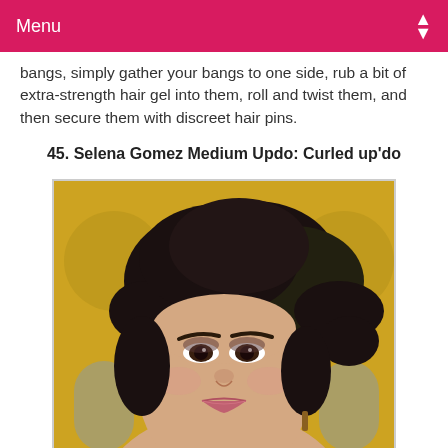Menu
bangs, simply gather your bangs to one side, rub a bit of extra-strength hair gel into them, roll and twist them, and then secure them with discreet hair pins.
45. Selena Gomez Medium Updo: Curled up'do
[Figure (photo): Photo of Selena Gomez with a curled updo hairstyle, dark hair swept up loosely, smiling, photographed against a yellow/gold background at what appears to be an awards event.]